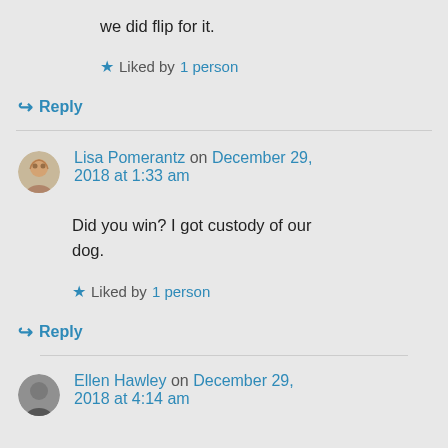we did flip for it.
★ Liked by 1 person
↪ Reply
Lisa Pomerantz on December 29, 2018 at 1:33 am
Did you win? I got custody of our dog.
★ Liked by 1 person
↪ Reply
Ellen Hawley on December 29, 2018 at 4:14 am